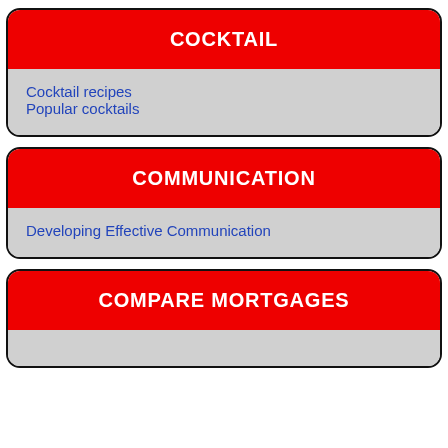COCKTAIL
Cocktail recipes
Popular cocktails
COMMUNICATION
Developing Effective Communication
COMPARE MORTGAGES